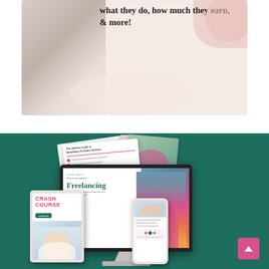[Figure (photo): Top banner image with pinkish/beige background showing a phone/camera object on the left, and bold text reading 'what they do, how much they earn, & more!' on the right side]
what they do, how much they earn, & more!
[Figure (screenshot): Promotional section on dark teal/green background showing course materials mockup including floating checklist papers, a desktop monitor displaying a 'Crash Course How to get started Freelancing' course page with a woman in pink, a tablet device showing 'CRASH COURSE workbook' with a person sitting, and a mobile phone device. A pink scroll-to-top button is in the bottom right corner.]